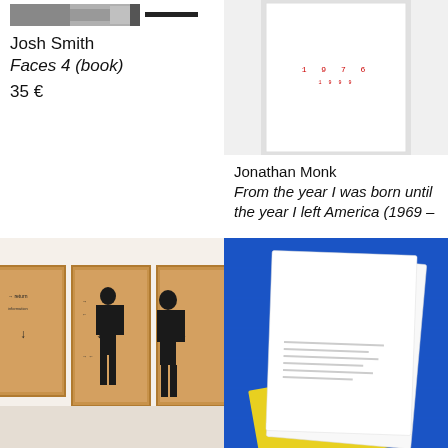[Figure (photo): Partial image of a face or artwork at top of left column, black and white, with a dark horizontal bar]
Josh Smith
Faces 4 (book)
35 €
[Figure (photo): White framed print showing the text '1 9 7 6' in small red monospaced letters on white background]
Jonathan Monk
From the year I was born until the year I left America (1969 – 1999) COIN SERIES
2150 €
[Figure (photo): Gallery installation view showing three gold/brown framed artworks on white wall, two visitors looking at them]
[Figure (photo): Photo on blue background showing white papers/booklets and a yellow booklet with barcode]